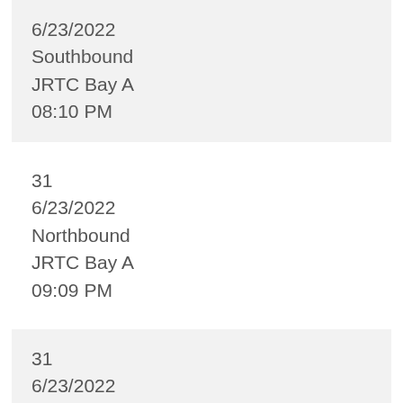6/23/2022
Southbound
JRTC Bay A
08:10 PM
31
6/23/2022
Northbound
JRTC Bay A
09:09 PM
31
6/23/2022
Southbound
JRTC Bay A
09:20 PM
31
6/23/2022